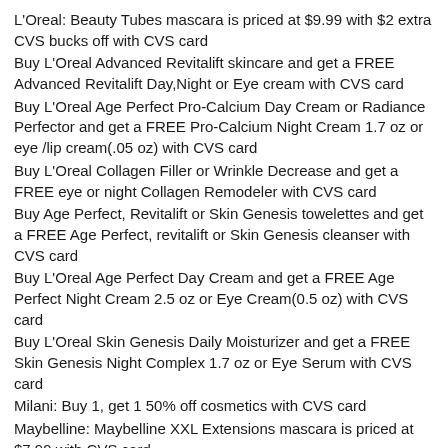L'Oreal: Beauty Tubes mascara is priced at $9.99 with $2 extra CVS bucks off with CVS card
Buy L'Oreal Advanced Revitalift skincare and get a FREE Advanced Revitalift Day,Night or Eye cream with CVS card
Buy L'Oreal Age Perfect Pro-Calcium Day Cream or Radiance Perfector and get a FREE Pro-Calcium Night Cream 1.7 oz or eye /lip cream(.05 oz) with CVS card
Buy L'Oreal Collagen Filler or Wrinkle Decrease and get a FREE eye or night Collagen Remodeler with CVS card
Buy Age Perfect, Revitalift or Skin Genesis towelettes and get a FREE Age Perfect, revitalift or Skin Genesis cleanser with CVS card
Buy L'Oreal Age Perfect Day Cream and get a FREE Age Perfect Night Cream 2.5 oz or Eye Cream(0.5 oz) with CVS card
Buy L'Oreal Skin Genesis Daily Moisturizer and get a FREE Skin Genesis Night Complex 1.7 oz or Eye Serum with CVS card
Milani: Buy 1, get 1 50% off cosmetics with CVS card
Maybelline: Maybelline XXL Extensions mascara is priced at $7.99 with CVS card
Sally Hanson: Buy 1, get 1 50% off on Sally Hanson or…